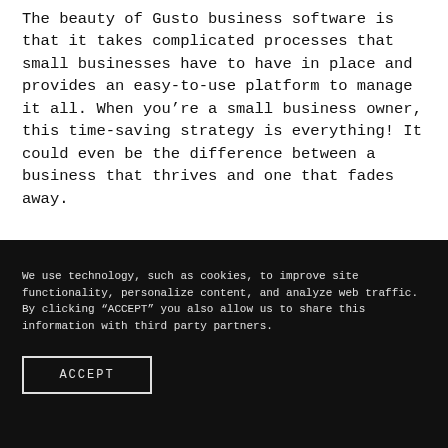The beauty of Gusto business software is that it takes complicated processes that small businesses have to have in place and provides an easy-to-use platform to manage it all. When you're a small business owner, this time-saving strategy is everything! It could even be the difference between a business that thrives and one that fades away.
We use technology, such as cookies, to improve site functionality, personalize content, and analyze web traffic. By clicking “ACCEPT” you also allow us to share this information with third party partners.
ACCEPT